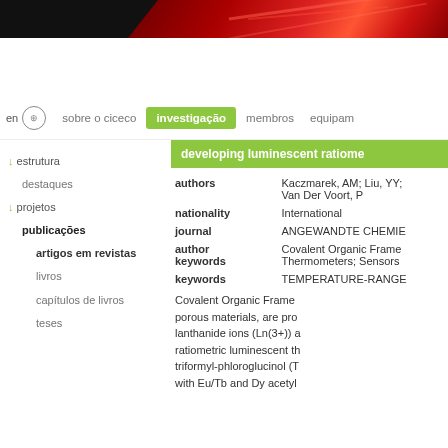[Figure (photo): Dark header banner with red diagonal light streaks on black background]
en | sobre o ciceco | investigação | membros | equipam
↓ estrutura
destaques
↓ projetos
publicações
artigos em revistas
livros
capítulos de livros
teses
developing luminescent ratiome
| field | value |
| --- | --- |
| authors | Kaczmarek, AM; Liu, YY; Van Der Voort, P |
| nationality | International |
| journal | ANGEWANDTE CHEMIE |
| author keywords | Covalent Organic Frame Thermometers; Sensors |
| keywords | TEMPERATURE-RANGE |
Covalent Organic Frame porous materials, are pro lanthanide ions (Ln(3+)) a ratiometric luminescent th triformyl-phloroglucinol (T with Eu/Tb and Dy acetyl